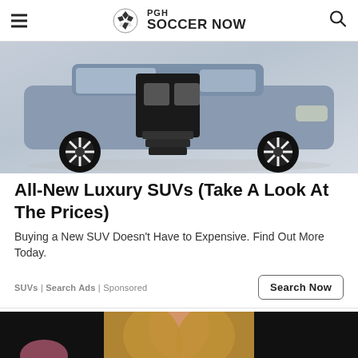PGH SOCCER NOW
[Figure (photo): Blue/gray luxury SUV with doors open showing interior seats and steps extended, with distinctive turbine-style wheels]
All-New Luxury SUVs (Take A Look At The Prices)
Buying a New SUV Doesn't Have to Expensive. Find Out More Today.
SUVs | Search Ads | Sponsored
[Figure (photo): Partial photo of a blonde woman against a dark background, partially cropped at bottom of page]